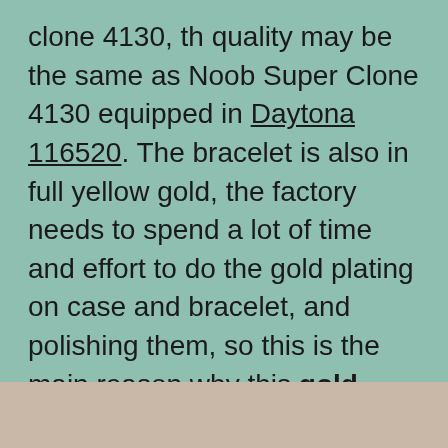clone 4130, th quality may be the same as Noob Super Clone 4130 equipped in Daytona 116520. The bracelet is also in full yellow gold, the factory needs to spend a lot of time and effort to do the gold plating on case and bracelet, and polishing them, so this is the main reason why this gold Daytona replica is sold at a high price. As you can see below, there are ten models JH factory published this time, each is in full yellow gold and has a different dial color. So, please tell me which model you love most.
[Figure (photo): Bottom strip of a photo showing what appears to be a watch or jewelry item on a light beige/tan background]